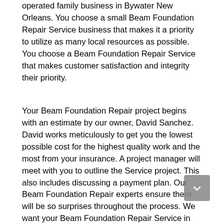operated family business in Bywater New Orleans. You choose a small Beam Foundation Repair Service business that makes it a priority to utilize as many local resources as possible. You choose a Beam Foundation Repair Service that makes customer satisfaction and integrity their priority.
Your Beam Foundation Repair project begins with an estimate by our owner, David Sanchez. David works meticulously to get you the lowest possible cost for the highest quality work and the most from your insurance. A project manager will meet with you to outline the Service project. This also includes discussing a payment plan. Our Beam Foundation Repair experts ensure there will be so surprises throughout the process. We want your Beam Foundation Repair Service in Bywater New Orleans to be as stress-free as possible!